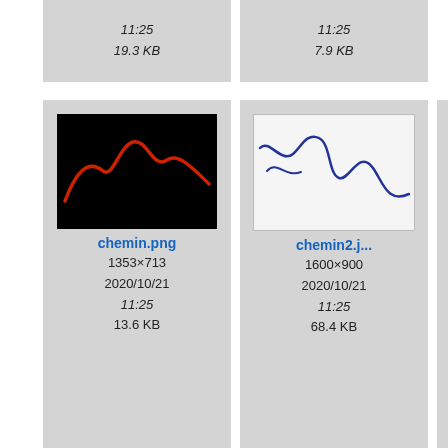[Figure (screenshot): File browser thumbnail grid showing image files. Top partial row: two cards with times 11:25 and sizes 19.3 KB and 7.9 KB. Second row: chemin.png (1353x713, 2020/10/21, 11:25, 13.6 KB) with black background red path thumbnail; chemin2.j... (1600x900, 2020/10/21, 11:25, 68.4 KB) with white background blue path thumbnail; partial third card. Third row: chu.jpg (757x603, 2020/10/21, 11:25) with CHU Strasbourg hospital logo; clanguag... (597x602, 2020/10/21, 11:25) with metallic letter C; partial third card.]